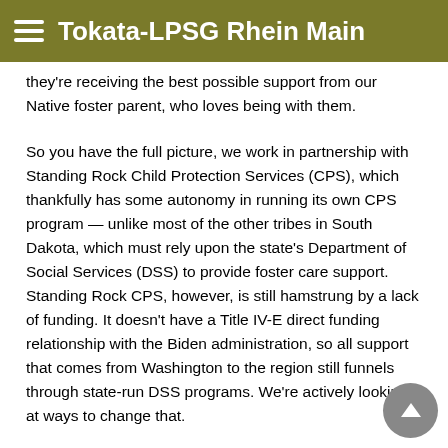Tokata-LPSG Rhein Main
they're receiving the best possible support from our Native foster parent, who loves being with them.
So you have the full picture, we work in partnership with Standing Rock Child Protection Services (CPS), which thankfully has some autonomy in running its own CPS program — unlike most of the other tribes in South Dakota, which must rely upon the state's Department of Social Services (DSS) to provide foster care support. Standing Rock CPS, however, is still hamstrung by a lack of funding. It doesn't have a Title IV-E direct funding relationship with the Biden administration, so all support that comes from Washington to the region still funnels through state-run DSS programs. We're actively looking at ways to change that.
Our children are our future, and we can't strengthen tribal nations without ensuring that our kids grow up under the care of tribal relatives. For centuries, the United States has conjured policies to